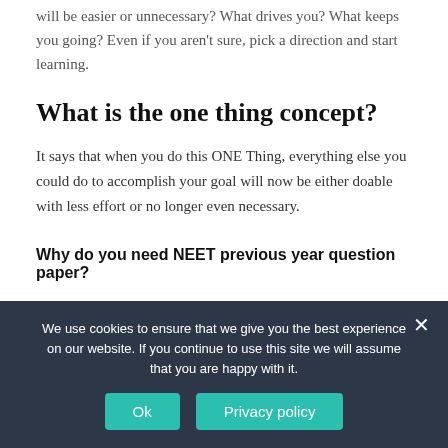will be easier or unnecessary? What drives you? What keeps you going? Even if you aren't sure, pick a direction and start learning.
What is the one thing concept?
It says that when you do this ONE Thing, everything else you could do to accomplish your goal will now be either doable with less effort or no longer even necessary.
Why do you need NEET previous year question paper?
We use cookies to ensure that we give you the best experience on our website. If you continue to use this site we will assume that you are happy with it.